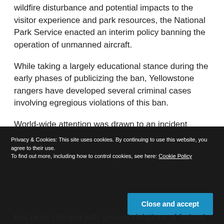wildfire disturbance and potential impacts to the visitor experience and park resources, the National Park Service enacted an interim policy banning the operation of unmanned aircraft.
While taking a largely educational stance during the early phases of publicizing the ban, Yellowstone rangers have developed several criminal cases involving egregious violations of this ban.
World-wide attention was drawn to an incident
Privacy & Cookies: This site uses cookies. By continuing to use this website, you agree to their use.
To find out more, including how to control cookies, see here: Cookie Policy
has been charged with several violations of federal